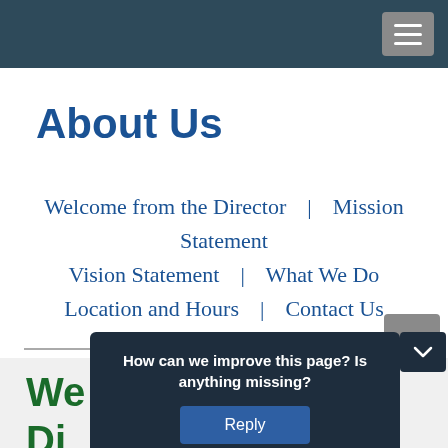Navigation bar with hamburger menu
About Us
Welcome from the Director  |  Mission Statement
Vision Statement  |  What We Do
Location and Hours  |  Contact Us
Welcome from the Director
How can we improve this page? Is anything missing?
Reply